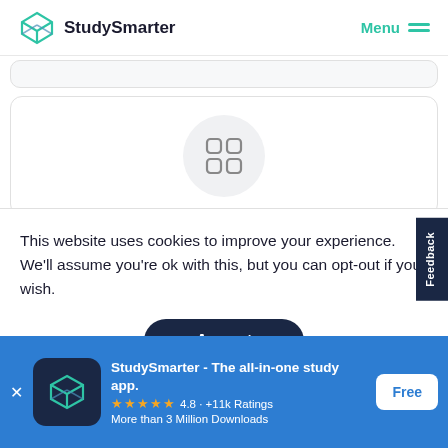StudySmarter | Menu
[Figure (screenshot): Partial gray card strip at top of page content area]
[Figure (screenshot): White card with circular gray icon containing four rounded squares (grid/apps icon)]
This website uses cookies to improve your experience. We'll assume you're ok with this, but you can opt-out if you wish.
Accept
Feedback
StudySmarter - The all-in-one study app.
4.8 · +11k Ratings
More than 3 Million Downloads
Free